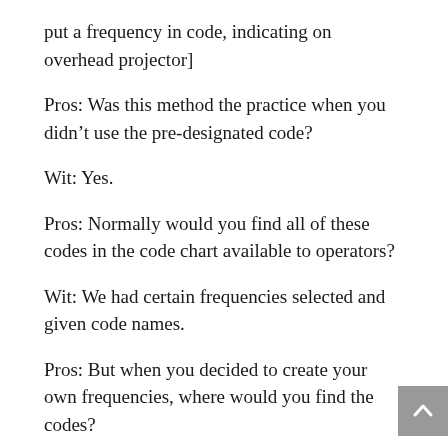put a frequency in code, indicating on overhead projector]
Pros: Was this method the practice when you didn’t use the pre-designated code?
Wit: Yes.
Pros: Normally would you find all of these codes in the code chart available to operators?
Wit: We had certain frequencies selected and given code names.
Pros: But when you decided to create your own frequencies, where would you find the codes?